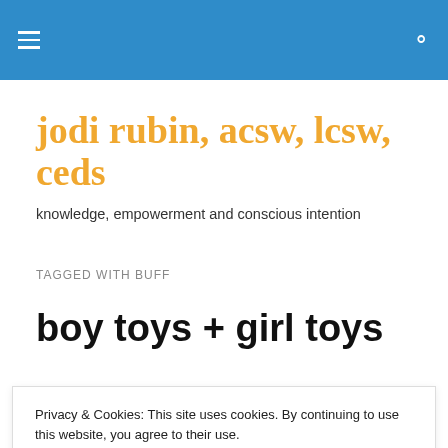jodi rubin, acsw, lcsw, ceds — site header navigation
jodi rubin, acsw, lcsw, ceds
knowledge, empowerment and conscious intention
TAGGED WITH BUFF
boy toys + girl toys
The fact that eating disorders cross all gender, race, age...
Privacy & Cookies: This site uses cookies. By continuing to use this website, you agree to their use. To find out more, including how to control cookies, see here: Cookie Policy
A recent study published in...